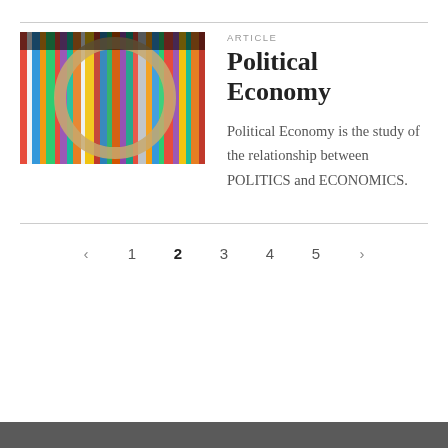[Figure (photo): Photo of colorful books/files lined up on a shelf viewed at an angle, with a wooden circular frame or magnifier in the foreground]
ARTICLE
Political Economy
Political Economy is the study of the relationship between POLITICS and ECONOMICS.
‹  1  2  3  4  5  ›